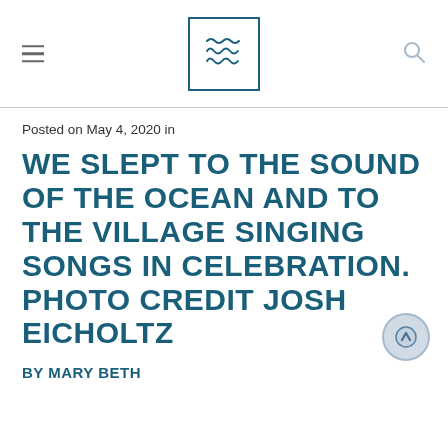Website header with logo and navigation icons
Posted on May 4, 2020 in
WE SLEPT TO THE SOUND OF THE OCEAN AND TO THE VILLAGE SINGING SONGS IN CELEBRATION. PHOTO CREDIT JOSH EICHOLTZ
BY MARY BETH